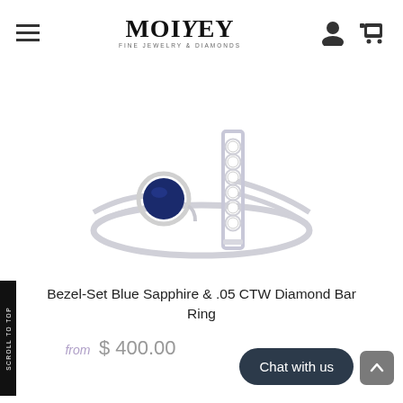MOIEY Fine Jewelry & Diamonds
[Figure (photo): A bezel-set blue sapphire and diamond bar ring on a white background. The ring features a round blue sapphire in a bezel setting on the left and a vertical bar with diamonds on the right, connected by a split open band in white metal.]
Bezel-Set Blue Sapphire & .05 CTW Diamond Bar Ring
from $ 400.00
Chat with us
SCROLL TO TOP